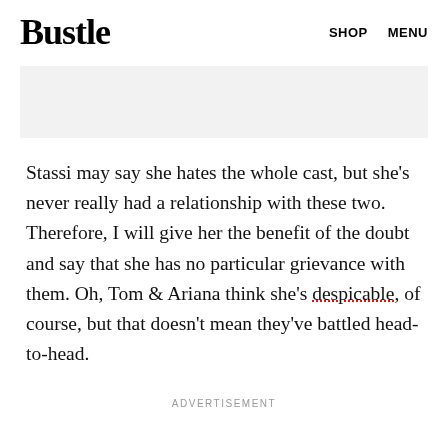Bustle  SHOP  MENU
[Figure (other): Gray advertisement placeholder banner]
Stassi may say she hates the whole cast, but she's never really had a relationship with these two. Therefore, I will give her the benefit of the doubt and say that she has no particular grievance with them. Oh, Tom & Ariana think she's despicable, of course, but that doesn't mean they've battled head-to-head.
ADVERTISEMENT